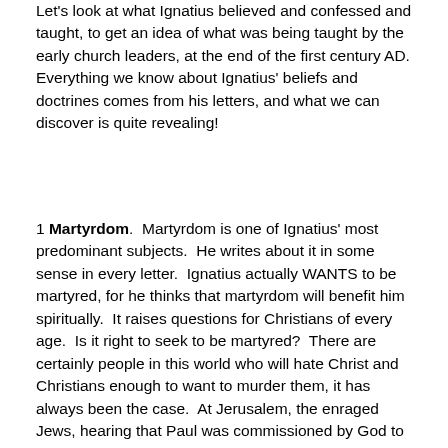Let's look at what Ignatius believed and confessed and taught, to get an idea of what was being taught by the early church leaders, at the end of the first century AD. Everything we know about Ignatius' beliefs and doctrines comes from his letters, and what we can discover is quite revealing!
1 Martyrdom. Martyrdom is one of Ignatius' most predominant subjects. He writes about it in some sense in every letter. Ignatius actually WANTS to be martyred, for he thinks that martyrdom will benefit him spiritually. It raises questions for Christians of every age. Is it right to seek to be martyred? There are certainly people in this world who will hate Christ and Christians enough to want to murder them, it has always been the case. At Jerusalem, the enraged Jews, hearing that Paul was commissioned by God to bring the good news of God's